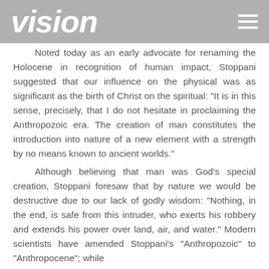vision
Noted today as an early advocate for renaming the Holocene in recognition of human impact, Stoppani suggested that our influence on the physical was as significant as the birth of Christ on the spiritual: “It is in this sense, precisely, that I do not hesitate in proclaiming the Anthropozoic era. The creation of man constitutes the introduction into nature of a new element with a strength by no means known to ancient worlds.”
Although believing that man was God’s special creation, Stoppani foresaw that by nature we would be destructive due to our lack of godly wisdom: “Nothing, in the end, is safe from this intruder, who exerts his robbery and extends his power over land, air, and water.” Modern scientists have amended Stoppani’s “Anthropozoic” to “Anthropocene”; while